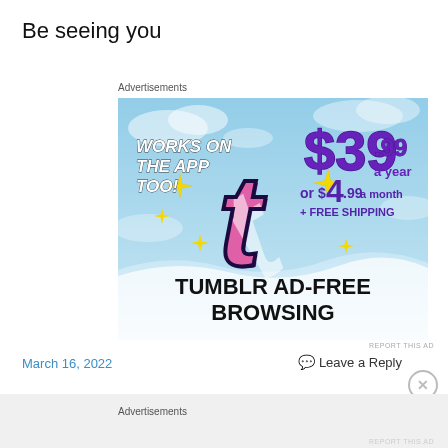Be seeing you
Advertisements
[Figure (illustration): Tumblr Ad-Free Browsing advertisement. Sky blue background with clouds. Large pink and white Tumblr 't' logo with purple outline and sparkles. Text: WORKS ON THE APP TOO! $39.99 a year or $4.99 a month + FREE SHIPPING. TUMBLR AD-FREE BROWSING in bold black text at the bottom.]
REPORT THIS AD
March 16, 2022
Leave a Reply
Advertisements
REPORT THIS AD